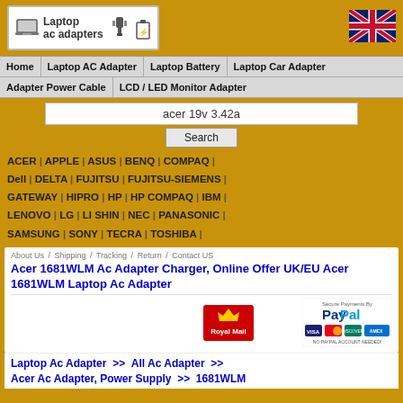[Figure (logo): Laptop ac adapters logo with laptop icon and plug icon]
[Figure (illustration): UK flag (Union Jack)]
Home | Laptop AC Adapter | Laptop Battery | Laptop Car Adapter | Adapter Power Cable | LCD / LED Monitor Adapter
acer 19v 3.42a
Search
ACER | APPLE | ASUS | BENQ | COMPAQ | Dell | DELTA | FUJITSU | FUJITSU-SIEMENS | GATEWAY | HIPRO | HP | HP COMPAQ | IBM | LENOVO | LG | LI SHIN | NEC | PANASONIC | SAMSUNG | SONY | TECRA | TOSHIBA |
About Us / Shipping / Tracking / Return / Contact US
Acer 1681WLM Ac Adapter Charger, Online Offer UK/EU Acer 1681WLM Laptop Ac Adapter
[Figure (logo): Royal Mail logo]
[Figure (logo): PayPal secure payments logo with Visa, Mastercard, Discover, Amex cards. No PayPal account needed.]
Laptop Ac Adapter >> All Ac Adapter >> Acer Ac Adapter, Power Supply >> 1681WLM